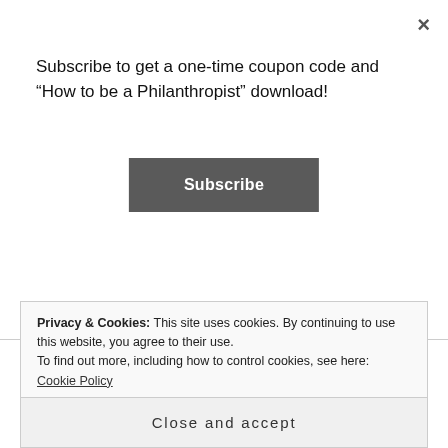Subscribe to get a one-time coupon code and “How to be a Philanthropist” download!
Subscribe
why I can use it as the example, politically, we need both extremes and I think that it benefits us all. However, those extremes are taking something too far, right? They’re extreme for a reason.
JK: So you’ve mentioned that you were the kind of the
Privacy & Cookies: This site uses cookies. By continuing to use this website, you agree to their use.
To find out more, including how to control cookies, see here: Cookie Policy
Close and accept